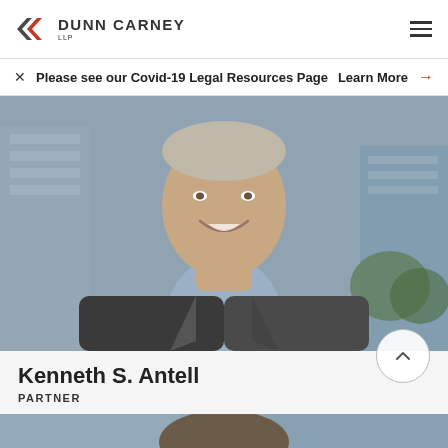Dunn Carney LLP
Please see our Covid-19 Legal Resources Page  Learn More →
[Figure (photo): Professional headshot of Kenneth S. Antell, a man in a grey blazer with a light blue shirt, smiling, with a city building background.]
Kenneth S. Antell
PARTNER
[Figure (photo): Partial professional headshot of another person, cropped at the top of the image, showing the top of a man's head with grey/brown hair, blurred city background.]